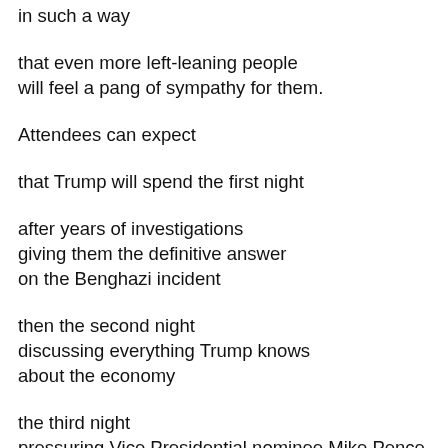in such a way
that even more left-leaning people will feel a pang of sympathy for them.
Attendees can expect
that Trump will spend the first night
after years of investigations giving them the definitive answer on the Benghazi incident
then the second night discussing everything Trump knows about the economy
the third night pressuring Vice Presidential nominee Mike Pence to think of anything good to say about Trump
and the fourth night